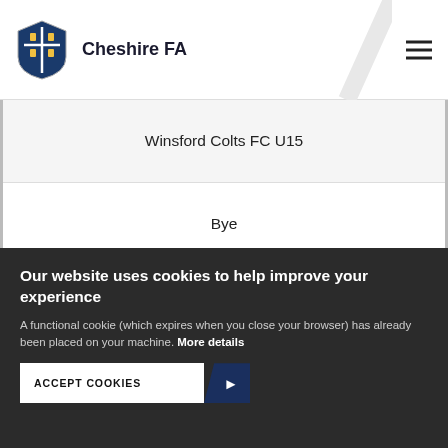Cheshire FA
Winsford Colts FC U15
Bye
Winsford Diamonds U15 United
Our website uses cookies to help improve your experience
A functional cookie (which expires when you close your browser) has already been placed on your machine. More details
ACCEPT COOKIES